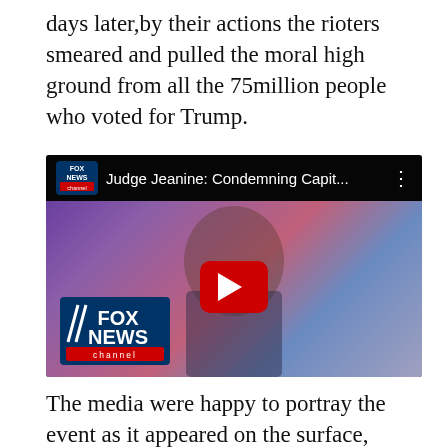days later,by their actions the rioters smeared and pulled the moral high ground from all the 75million people who voted for Trump.
[Figure (screenshot): Embedded YouTube video thumbnail showing Fox News Judge Jeanine program titled 'Judge Jeanine: Condemning Capit...' with a woman anchor in front of an American flag background, Fox News channel logo visible, and a red YouTube play button overlay.]
The media were happy to portray the event as it appeared on the surface, rather than consider that there might have been at least some planning or any agents provocateurs within the